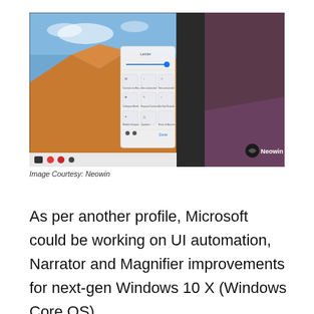[Figure (photo): A Microsoft Surface-style tablet device angled to the right, showing a Windows 10 X desktop with a blue sky and sandy mountain wallpaper. A quick settings/action center panel is open on the right side of the screen, showing a brightness slider and various toggle buttons. The Neowin logo appears in the bottom-right corner of the photo. The tablet sits on a purple-lit surface.]
Image Courtesy: Neowin
As per another profile, Microsoft could be working on UI automation, Narrator and Magnifier improvements for next-gen Windows 10 X (Windows Core OS).